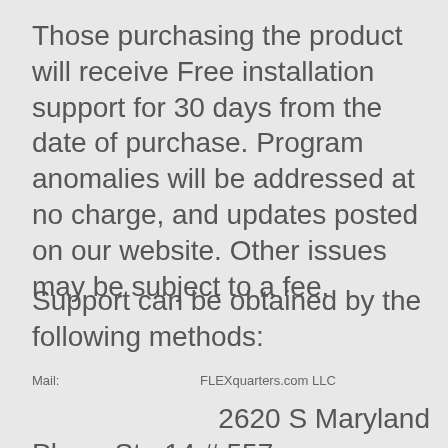Those purchasing the product will receive Free installation support for 30 days from the date of purchase. Program anomalies will be addressed at no charge, and updates posted on our website. Other issues may be subject to a fee.
Support can be obtained by the following methods:
Mail:    FLEXquarters.com LLC
2620 S Maryland Pkwy  Ste 14 # 557